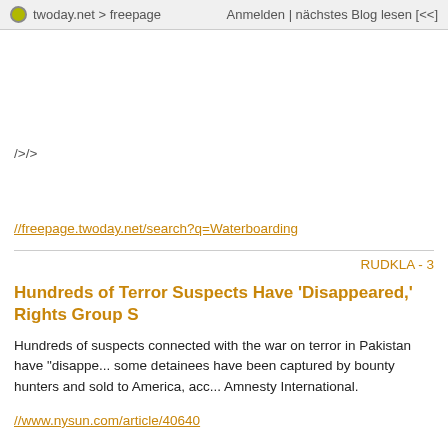twoday.net > freepage   Anmelden | nächstes Blog lesen [<<]
/>/>
//freepage.twoday.net/search?q=Waterboarding
RUDKLA - 3
Hundreds of Terror Suspects Have 'Disappeared,' Rights Group S
Hundreds of suspects connected with the war on terror in Pakistan have "disapp... some detainees have been captured by bounty hunters and sold to America, acc... Amnesty International.
//www.nysun.com/article/40640